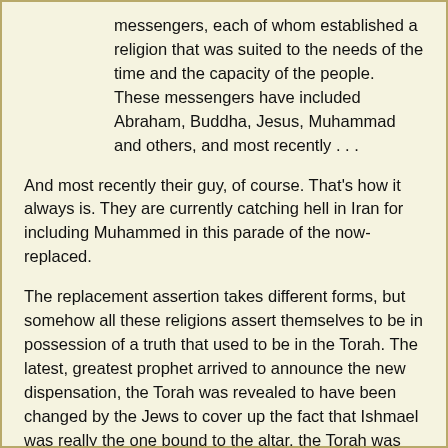messengers, each of whom established a religion that was suited to the needs of the time and the capacity of the people. These messengers have included Abraham, Buddha, Jesus, Muhammad and others, and most recently . . .
And most recently their guy, of course. That's how it always is. They are currently catching hell in Iran for including Muhammed in this parade of the now-replaced.
The replacement assertion takes different forms, but somehow all these religions assert themselves to be in possession of a truth that used to be in the Torah. The latest, greatest prophet arrived to announce the new dispensation, the Torah was revealed to have been changed by the Jews to cover up the fact that Ishmael was really the one bound to the altar, the Torah was revealed to be figuratively rather than literally true, etc. Whatever form the assertion takes, Judaism is held to have a successor or a reversion to what it originally was, or something that is somehow the true identity of the now false Judaism.